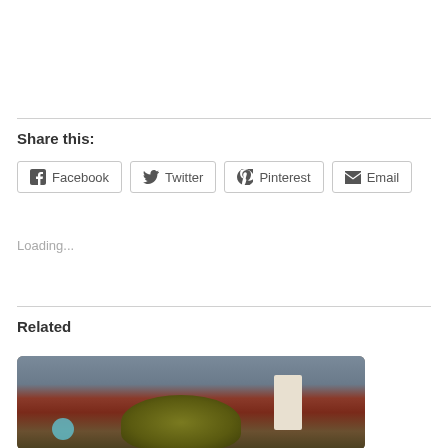Share this:
Facebook
Twitter
Pinterest
Email
Loading...
Related
[Figure (photo): Outdoor photo showing a brick building with a bush/shrub in front, a white door visible, and a blue round object at the lower left. Image is slightly blurred.]